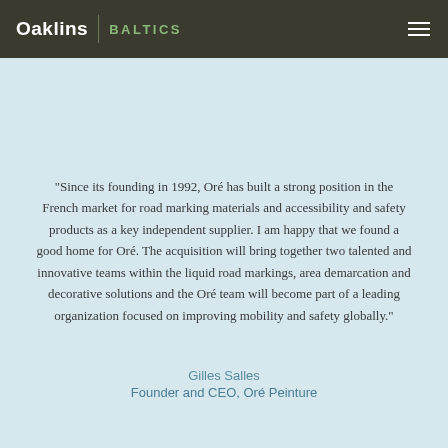Oaklins | BALTICS
“Since its founding in 1992, Oré has built a strong position in the French market for road marking materials and accessibility and safety products as a key independent supplier. I am happy that we found a good home for Oré. The acquisition will bring together two talented and innovative teams within the liquid road markings, area demarcation and decorative solutions and the Oré team will become part of a leading organization focused on improving mobility and safety globally.”
Gilles Salles
Founder and CEO, Oré Peinture